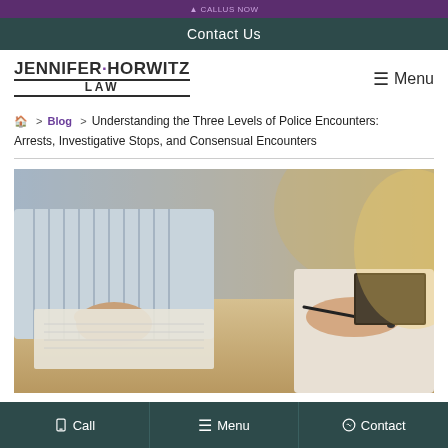Contact Us
[Figure (logo): Jennifer Horwitz Law logo with purple dot between names]
Menu
🏠 > Blog > Understanding the Three Levels of Police Encounters: Arrests, Investigative Stops, and Consensual Encounters
[Figure (photo): Two people at a desk, one holding a pen and paper, consultation scene in a law office]
Call  Menu  Contact